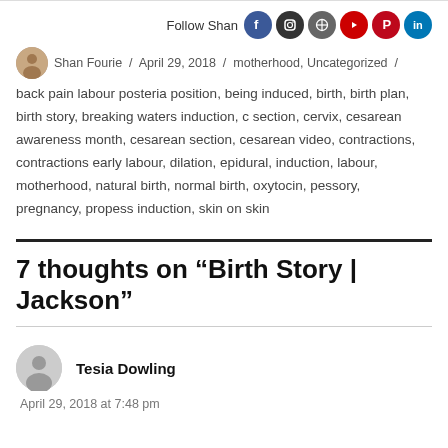Follow Shan [social icons: Facebook, Instagram, WordPress, YouTube, Pinterest, LinkedIn]
Shan Fourie / April 29, 2018 / motherhood, Uncategorized / back pain labour posteria position, being induced, birth, birth plan, birth story, breaking waters induction, c section, cervix, cesarean awareness month, cesarean section, cesarean video, contractions, contractions early labour, dilation, epidural, induction, labour, motherhood, natural birth, normal birth, oxytocin, pessory, pregnancy, propess induction, skin on skin
7 thoughts on “Birth Story | Jackson”
Tesia Dowling
April 29, 2018 at 7:48 pm